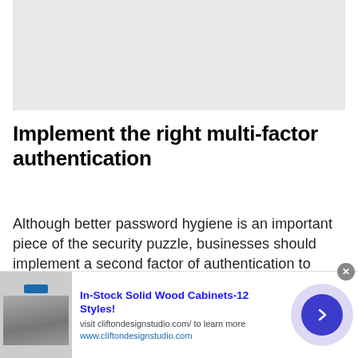[Figure (other): Gray placeholder image area at top of page]
Implement the right multi-factor authentication
Although better password hygiene is an important piece of the security puzzle, businesses should implement a second factor of authentication to ensure best protection. The good news is that MFA adoption continues to grow, with nearly 70 per cent of Okta customers offering three or more factor
[Figure (other): Advertisement banner: In-Stock Solid Wood Cabinets-12 Styles! visit cliftondesignstudio.com/ to learn more www.cliftondesignstudio.com]